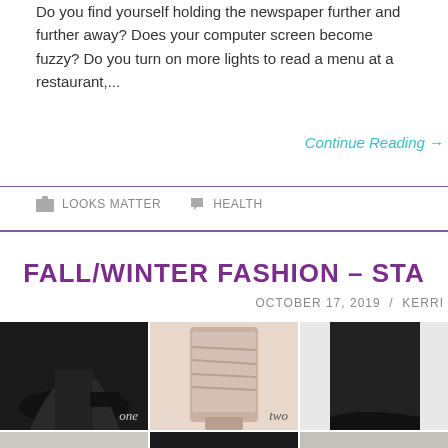Do you find yourself holding the newspaper further and further away? Does your computer screen become fuzzy? Do you turn on more lights to read a menu at a restaurant,...
Continue Reading →
LOOKS MATTER   HEALTH
FALL/WINTER FASHION – STA
OCTOBER 17, 2019  /  KERRI
[Figure (photo): Three boot images in a row: black heeled ankle boot labeled 'one', pink/taupe tall slouch boots labeled 'two', black pointed-toe tall boot]
[Figure (photo): Three boot images in a row (bottom row): grey ankle boots, black tall boot, grey/taupe tall boot]